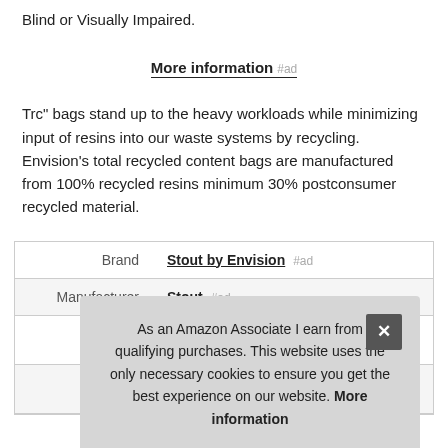Blind or Visually Impaired.
More information #ad
Trc" bags stand up to the heavy workloads while minimizing input of resins into our waste systems by recycling. Envision's total recycled content bags are manufactured from 100% recycled resins minimum 30% postconsumer recycled material.
|  |  |
| --- | --- |
| Brand | Stout by Envision #ad |
| Manufacturer | Stout #ad |
As an Amazon Associate I earn from qualifying purchases. This website uses the only necessary cookies to ensure you get the best experience on our website. More information